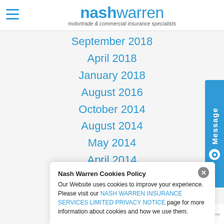nashwarren motortrade & commercial insurance specialists
September 2018
April 2018
January 2018
August 2016
October 2014
August 2014
May 2014
April 2014
January 2014
Nash Warren Cookies Policy
Our Website uses cookies to improve your experience. Please visit our NASH WARREN INSURANCE SERVICES LIMITED PRIVACY NOTICE page for more information about cookies and how we use them.